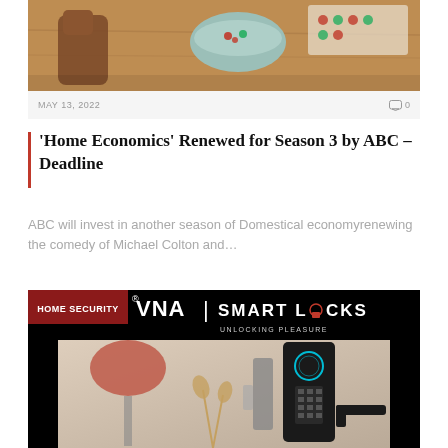[Figure (photo): Photo showing a dinosaur toy figure, a teal/mint bowl with snacks, and colorful game pieces on a wooden surface]
MAY 13, 2022
0
'Home Economics' Renewed for Season 3 by ABC – Deadline
ABC will invest in another season of Domestical economyrenewing the comedy of Michael Colton and…
[Figure (photo): Advertisement image for NVNA Smart Locks with the tagline 'Unlocking Pleasure', showing a smart door lock with fingerprint sensor and keypad on a door]